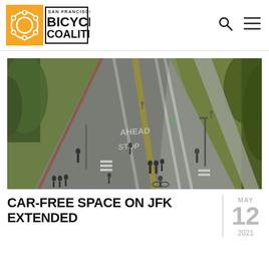[Figure (logo): San Francisco Bicycle Coalition logo with orange square background and chain-link gear icon]
[Figure (photo): Aerial view of JFK Drive in Golden Gate Park with people walking and cycling on a car-free road, green lawns on either side, road markings visible including AHEAD and STOP text]
CAR-FREE SPACE ON JFK EXTENDED
MAY 12 2021